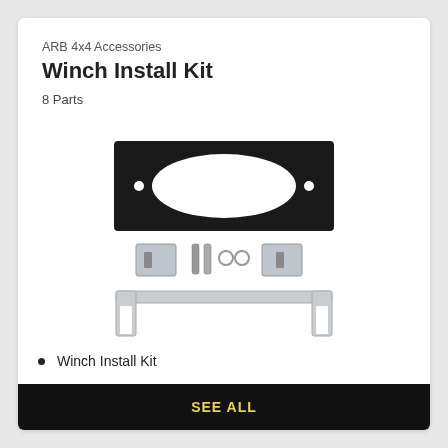ARB 4x4 Accessories
Winch Install Kit
8 Parts
[Figure (photo): Winch install kit components: a black rectangular mounting plate with an oval cutout and two mounting holes, two metal bracket plates with bolts and nuts, and a U-shaped metal bracket]
Winch Install Kit
SEE ALL